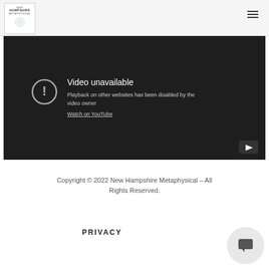New Hampshire Metaphysical - site header with logo and hamburger menu
[Figure (screenshot): Embedded YouTube video player showing 'Video unavailable' message: 'Playback on other websites has been disabled by the video owner'. Link: 'Watch on YouTube'. YouTube play button icon visible at bottom right of player.]
Video unavailable
Playback on other websites has been disabled by the video owner
Watch on YouTube
Copyright © 2022 New Hampshire Metaphysical – All Rights Reserved.
PRIVACY